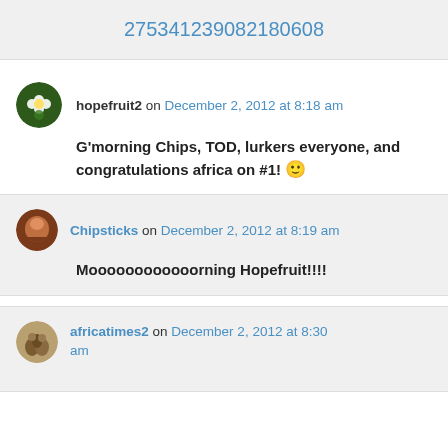275341239082180608
hopefruit2 on December 2, 2012 at 8:18 am
G'morning Chips, TOD, lurkers everyone, and congratulations africa on #1! 🙂
Chipsticks on December 2, 2012 at 8:19 am
Moooooooooooorning Hopefruit!!!!
africatimes2 on December 2, 2012 at 8:30 am